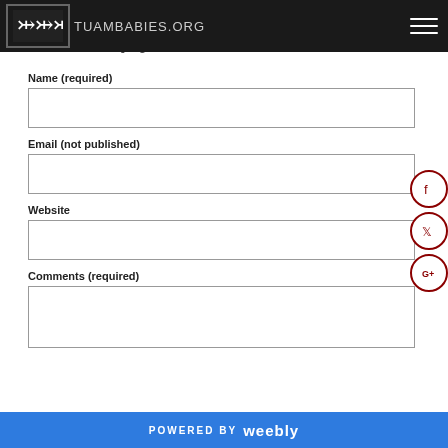TUAMBABIES.ORG
d Reply
Name (required)
Email (not published)
Website
Comments (required)
POWERED BY weebly